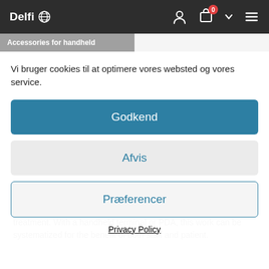Delfi — website header with logo, user icon, cart (0), and menu
Accessories for handheld
Vi bruger cookies til at optimere vores websted og vores service.
Godkend
Afvis
Præferencer
Privacy Policy
the concerned patient and ensure that he/she gets the proper treatment. With a handheld terminal or PDA, this work can be systematized for the benefit of both staff and patient.